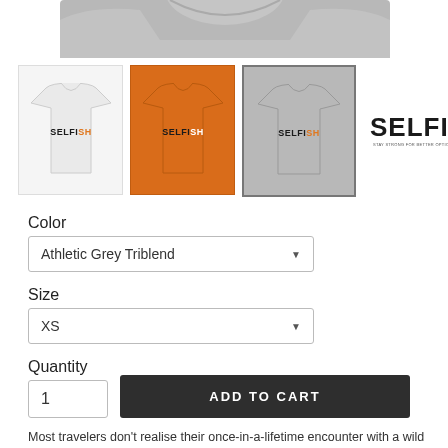[Figure (photo): Cropped top portion of a grey SELFISH t-shirt product image]
[Figure (photo): Four product thumbnail images: white SELFISH t-shirt, orange SELFISH t-shirt, grey SELFISH t-shirt (selected/highlighted), and the SELFISH logo on white background]
Color
Athletic Grey Triblend
Size
XS
Quantity
1
ADD TO CART
Most travelers don't realise their once-in-a-lifetime encounter with a wild animal, can mean a lifetime of misery for wild animals.